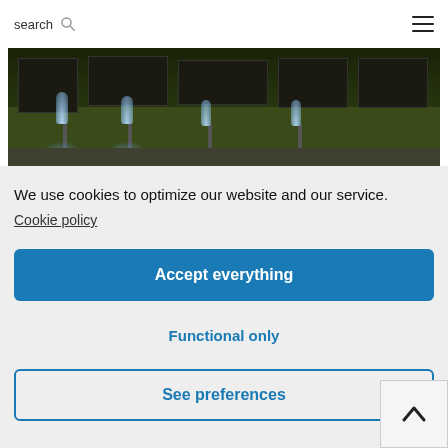search ☰
[Figure (photo): Outdoor photo showing illuminated fountains with water jets at night, with landscaping and buildings in background]
We use cookies to optimize our website and our service.
Cookie policy
Accept everything
Functional only
See preferences
[Figure (photo): Partial view of another photo at bottom of page, appears to show an interior or exterior scene]